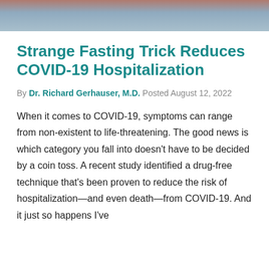[Figure (photo): Partial photo strip at top of page showing blurred medical/health imagery with warm and cool tones]
Strange Fasting Trick Reduces COVID-19 Hospitalization
By Dr. Richard Gerhauser, M.D. Posted August 12, 2022
When it comes to COVID-19, symptoms can range from non-existent to life-threatening. The good news is which category you fall into doesn't have to be decided by a coin toss. A recent study identified a drug-free technique that's been proven to reduce the risk of hospitalization—and even death—from COVID-19. And it just so happens I've